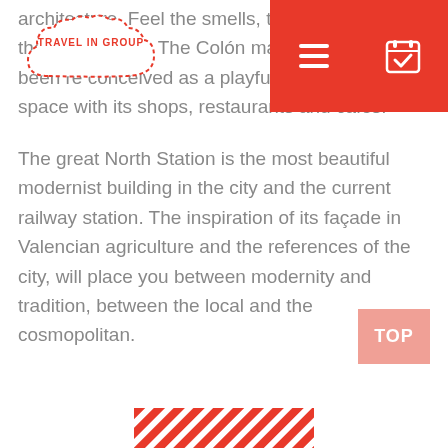[Figure (logo): Travel in Group logo inside a cloud-shaped border with dashed outline]
[Figure (screenshot): Red navigation bar with hamburger menu icon and calendar/check icon]
architecture. Feel the smells, taste its and enjoy the gastronomy. The Colón market has now been re conceived as a playful and cultural space with its shops, restaurants and cafes.
The great North Station is the most beautiful modernist building in the city and the current railway station. The inspiration of its façade in Valencian agriculture and the references of the city, will place you between modernity and tradition, between the local and the cosmopolitan.
[Figure (other): Red diagonal stripes pattern at bottom of page]